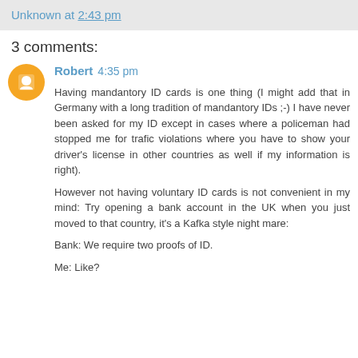Unknown at 2:43 pm
3 comments:
Robert 4:35 pm
Having mandantory ID cards is one thing (I might add that in Germany with a long tradition of mandantory IDs ;-) I have never been asked for my ID except in cases where a policeman had stopped me for trafic violations where you have to show your driver's license in other countries as well if my information is right).

However not having voluntary ID cards is not convenient in my mind: Try opening a bank account in the UK when you just moved to that country, it's a Kafka style night mare:

Bank: We require two proofs of ID.

Me: Like?